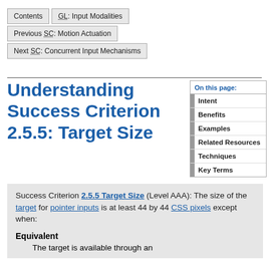Contents | GL: Input Modalities
Previous SC: Motion Actuation
Next SC: Concurrent Input Mechanisms
Understanding Success Criterion 2.5.5: Target Size
Intent
Benefits
Examples
Related Resources
Techniques
Key Terms
Success Criterion 2.5.5 Target Size (Level AAA): The size of the target for pointer inputs is at least 44 by 44 CSS pixels except when:
Equivalent
The target is available through an equivalent link or control on the same page that is at least 44 by 44 CSS pixels.